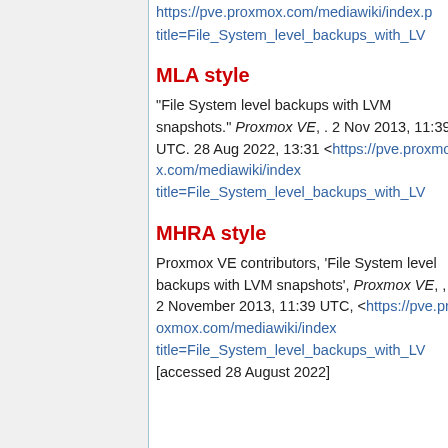https://pve.proxmox.com/mediawiki/index.p title=File_System_level_backups_with_LV
MLA style
"File System level backups with LVM snapshots." Proxmox VE, . 2 Nov 2013, 11:39 UTC. 28 Aug 2022, 13:31 <https://pve.proxmox.com/mediawiki/index title=File_System_level_backups_with_LV
MHRA style
Proxmox VE contributors, 'File System level backups with LVM snapshots', Proxmox VE, , 2 November 2013, 11:39 UTC, <https://pve.proxmox.com/mediawiki/index title=File_System_level_backups_with_LV [accessed 28 August 2022]